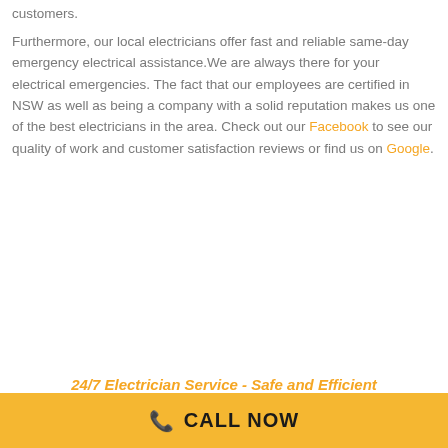customers.
Furthermore, our local electricians offer fast and reliable same-day emergency electrical assistance.We are always there for your electrical emergencies. The fact that our employees are certified in NSW as well as being a company with a solid reputation makes us one of the best electricians in the area. Check out our Facebook to see our quality of work and customer satisfaction reviews or find us on Google.
24/7 Electrician Service - Safe and Efficient